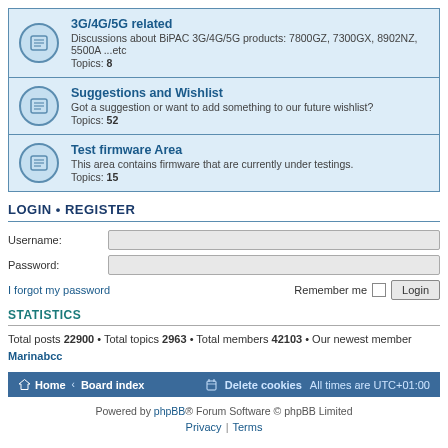3G/4G/5G related — Discussions about BiPAC 3G/4G/5G products: 7800GZ, 7300GX, 8902NZ, 5500A ...etc — Topics: 8
Suggestions and Wishlist — Got a suggestion or want to add something to our future wishlist? — Topics: 52
Test firmware Area — This area contains firmware that are currently under testings. — Topics: 15
LOGIN • REGISTER
Username:
Password:
I forgot my password
Remember me  Login
STATISTICS
Total posts 22900 • Total topics 2963 • Total members 42103 • Our newest member Marinabcc
Home • Board index   Delete cookies  All times are UTC+01:00
Powered by phpBB® Forum Software © phpBB Limited  Privacy | Terms